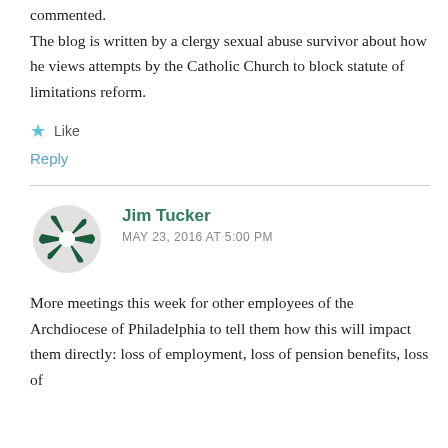The blog is written by a clergy sexual abuse survivor about how he views attempts by the Catholic Church to block statute of limitations reform.
Like
Reply
Jim Tucker
MAY 23, 2016 AT 5:00 PM
More meetings this week for other employees of the Archdiocese of Philadelphia to tell them how this will impact them directly: loss of employment, loss of pension benefits, loss of